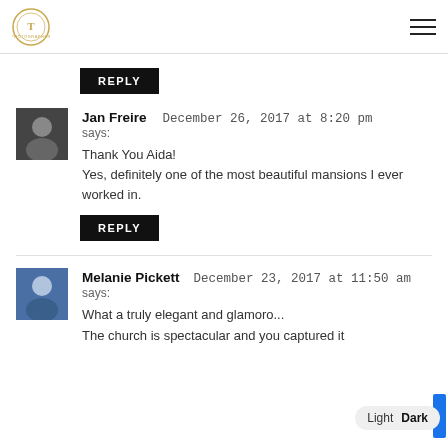[Figure (logo): Gold circular emblem logo with decorative text]
REPLY
Jan Freire says: December 26, 2017 at 8:20 pm
Thank You Aida!
Yes, definitely one of the most beautiful mansions I ever worked in.
REPLY
Melanie Pickett says: December 23, 2017 at 11:50 am
What a truly elegant and glamoro...
The church is spectacular and you captured it